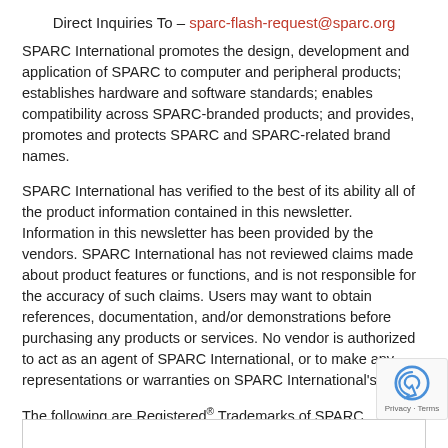Direct Inquiries To – sparc-flash-request@sparc.org
SPARC International promotes the design, development and application of SPARC to computer and peripheral products; establishes hardware and software standards; enables compatibility across SPARC-branded products; and provides, promotes and protects SPARC and SPARC-related brand names.
SPARC International has verified to the best of its ability all of the product information contained in this newsletter. Information in this newsletter has been provided by the vendors. SPARC International has not reviewed claims made about product features or functions, and is not responsible for the accuracy of such claims. Users may want to obtain references, documentation, and/or demonstrations before purchasing any products or services. No vendor is authorized to act as an agent of SPARC International, or to make any representations or warranties on SPARC International's behalf.
The following are Registered® Trademarks of SPARC International, Inc.: